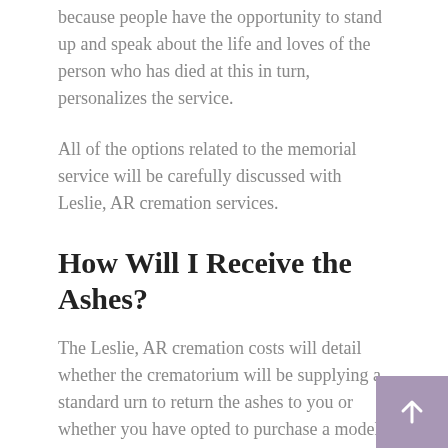because people have the opportunity to stand up and speak about the life and loves of the person who has died at this in turn, personalizes the service.
All of the options related to the memorial service will be carefully discussed with Leslie, AR cremation services.
How Will I Receive the Ashes?
The Leslie, AR cremation costs will detail whether the crematorium will be supplying a standard urn to return the ashes to you or whether you have opted to purchase a model for display which you may decide to use for a number of years.
The individual is always cremated alone, so you can rest assured that the ashes being returned to